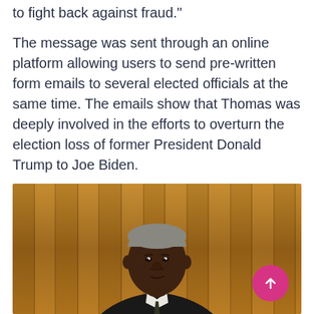to fight back against fraud."
The message was sent through an online platform allowing users to send pre-written form emails to several elected officials at the same time. The emails show that Thomas was deeply involved in the efforts to overturn the election loss of former President Donald Trump to Joe Biden.
[Figure (photo): Portrait photo of a Black man in formal attire (dark suit with white shirt), photographed against a warm wooden paneled background. The subject appears to be Clarence Thomas, a Supreme Court Justice.]